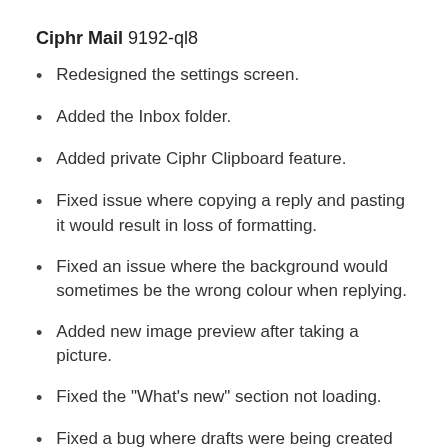Ciphr Mail 9192-ql8
Redesigned the settings screen.
Added the Inbox folder.
Added private Ciphr Clipboard feature.
Fixed issue where copying a reply and pasting it would result in loss of formatting.
Fixed an issue where the background would sometimes be the wrong colour when replying.
Added new image preview after taking a picture.
Fixed the "What's new" section not loading.
Fixed a bug where drafts were being created